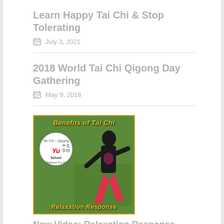Learn Happy Tai Chi & Stop Tolerating
July 3, 2021
2018 World Tai Chi Qigong Day Gathering
May 9, 2018
[Figure (photo): Thumbnail image showing a person practicing Tai Chi outdoors with text 'Benefits of Tai Chi' at top and 'Relaxation Response' at bottom, with Yu School Tai Chi-Qigong logo overlay]
New Video: Relaxation Response